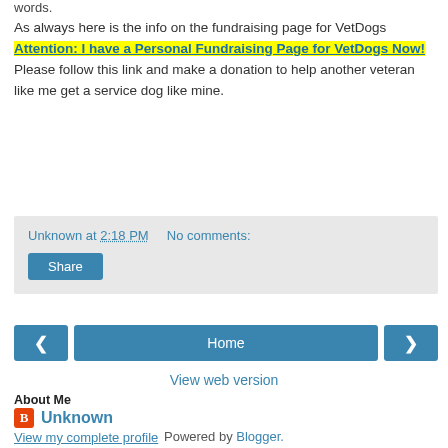words.
As always here is the info on the fundraising page for VetDogs Attention: I have a Personal Fundraising Page for VetDogs Now! Please follow this link and make a donation to help another veteran like me get a service dog like mine.
Unknown at 2:18 PM   No comments:
Share
Home
View web version
About Me
Unknown
View my complete profile
Powered by Blogger.